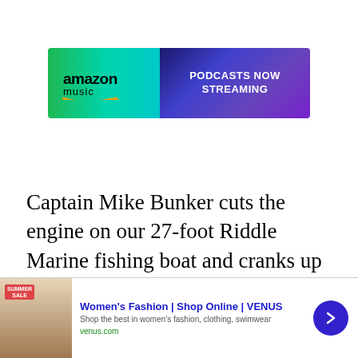[Figure (other): Amazon Music advertisement banner with green-to-teal gradient on left showing Amazon Music logo, and purple gradient on right with text 'PODCASTS NOW STREAMING']
Captain Mike Bunker cuts the engine on our 27-foot Riddle Marine fishing boat and cranks up the music. Liz Johnson, Jesse Liebrecht, and I peer over the rail and look out over the ocean. Around us, small charter
[Figure (other): Women's Fashion advertisement for VENUS with sale image, text 'Women's Fashion | Shop Online | VENUS', subtext 'Shop the best in women's fashion, clothing, swimwear', URL 'venus.com', and blue circular arrow button]